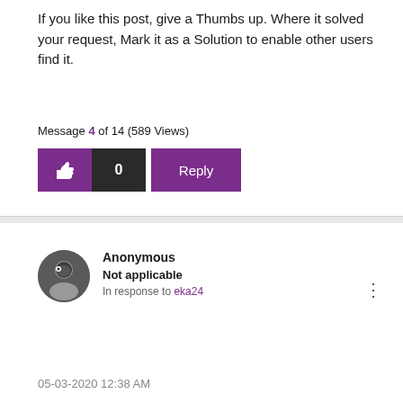If you like this post, give a Thumbs up. Where it solved your request, Mark it as a Solution to enable other users find it.
Message 4 of 14 (589 Views)
[Figure (other): Thumbs up button with count 0 and Reply button]
[Figure (other): Anonymous user avatar - dark circular icon with ghost/user silhouette]
Anonymous
Not applicable
In response to eka24
05-03-2020 12:38 AM